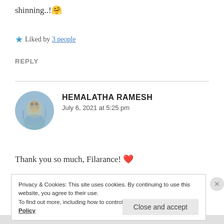shinning..! 🤗
★ Liked by 3 people
REPLY
HEMALATHA RAMESH
July 6, 2021 at 5:25 pm
Thank you so much, Filarance! ❤
Privacy & Cookies: This site uses cookies. By continuing to use this website, you agree to their use.
To find out more, including how to control cookies, see here: Cookie Policy
Close and accept